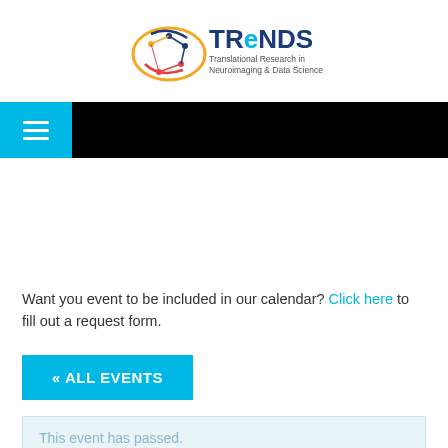[Figure (logo): TReNDS logo — brain-shaped icon with circuit nodes in gold, blue, and red, next to the text 'TReNDS' in large blue/dark letters and subtitle 'Translational Research in Neuroimaging & Data Science']
[Figure (screenshot): Navigation bar: cyan hamburger menu button on left, rest of bar black]
Want you event to be included in our calendar? Click here to fill out a request form.
« ALL EVENTS
This event has passed.